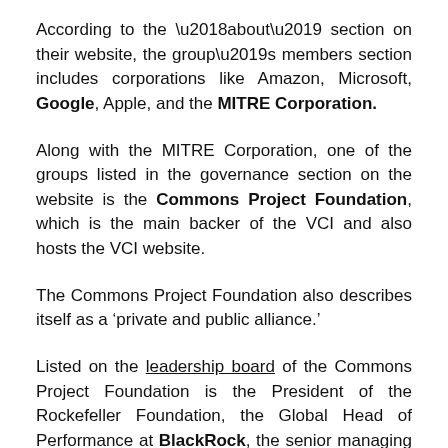According to the ‘about’ section on their website, the group’s members section includes corporations like Amazon, Microsoft, Google, Apple, and the MITRE Corporation.
Along with the MITRE Corporation, one of the groups listed in the governance section on the website is the Commons Project Foundation, which is the main backer of the VCI and also hosts the VCI website.
The Commons Project Foundation also describes itself as a ‘private and public alliance.’
Listed on the leadership board of the Commons Project Foundation is the President of the Rockefeller Foundation, the Global Head of Performance at BlackRock, the senior managing director at the